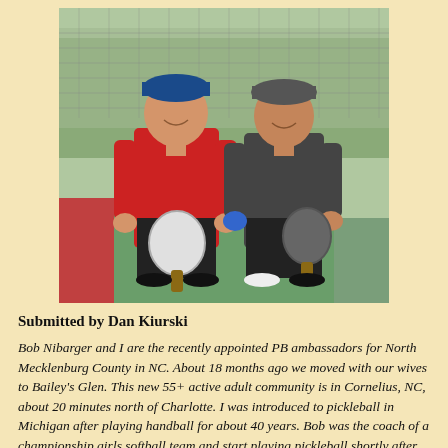[Figure (photo): Two men standing on a pickleball court outdoors, both holding pickleball paddles. The man on the left wears a red shirt and black shorts; the man on the right wears a dark gray shirt and black shorts. There is a chain-link fence and trees in the background.]
Submitted by Dan Kiurski
Bob Nibarger and I are the recently appointed PB ambassadors for North Mecklenburg County in NC. About 18 months ago we moved with our wives to Bailey's Glen. This new 55+ active adult community is in Cornelius, NC, about 20 minutes north of Charlotte. I was introduced to pickleball in Michigan after playing handball for about 40 years. Bob was the coach of a championship girls softball team and start playing pickleball shortly after moving to NC. We have